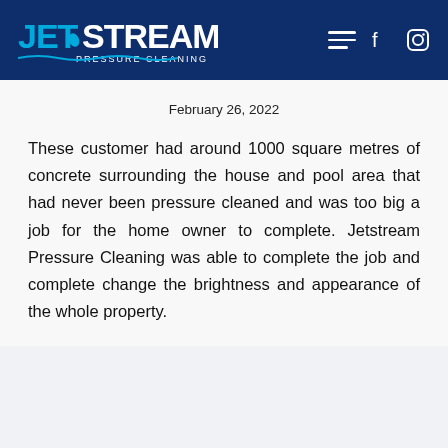[Figure (logo): Jetstream Pressure Cleaning logo with navigation icons (hamburger menu, Facebook, Instagram) on dark navy blue header bar]
February 26, 2022
These customer had around 1000 square metres of concrete surrounding the house and pool area that had never been pressure cleaned and was too big a job for the home owner to complete. Jetstream Pressure Cleaning was able to complete the job and complete change the brightness and appearance of the whole property.